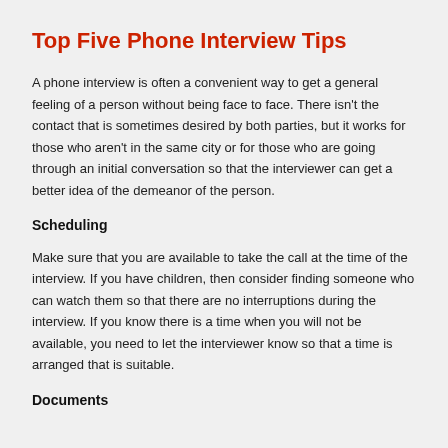Top Five Phone Interview Tips
A phone interview is often a convenient way to get a general feeling of a person without being face to face. There isn't the contact that is sometimes desired by both parties, but it works for those who aren't in the same city or for those who are going through an initial conversation so that the interviewer can get a better idea of the demeanor of the person.
Scheduling
Make sure that you are available to take the call at the time of the interview. If you have children, then consider finding someone who can watch them so that there are no interruptions during the interview. If you know there is a time when you will not be available, you need to let the interviewer know so that a time is arranged that is suitable.
Documents